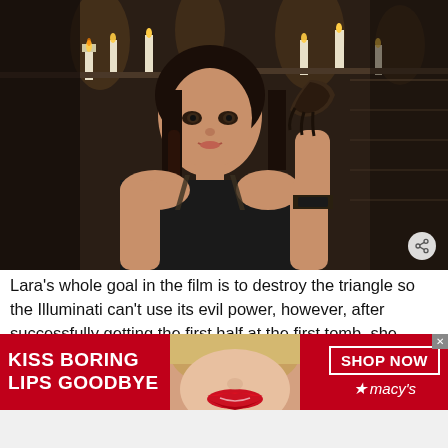[Figure (photo): Movie still from Tomb Raider showing a woman in black sleeveless top with braided hair holding a dark artifact, candles visible in the background, dark atmospheric setting]
Lara's whole goal in the film is to destroy the triangle so the Illuminati can't use its evil power, however, after successfully getting the first half at the first tomb, she spends the entire third act trying to acquire the second half in order to destroy
[Figure (photo): Macy's advertisement banner with red background showing a woman with red lipstick. Text reads: KISS BORING LIPS GOODBYE, SHOP NOW, Macy's with star logo]